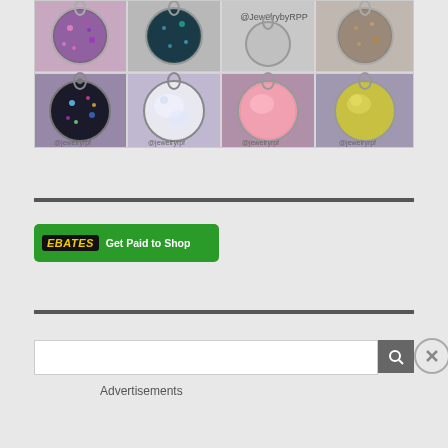[Figure (photo): Grid of jewelry pendants/lockets in various styles: top row shows glitter/sparkle pendants (purple glitter, teal glitter, empty silver, silver/bronze glitter); bottom row shows round dome pendants (dark glitter, white opal, pink, yellow-green) on purple background. Watermark @JewelrybyRPP visible.]
[Figure (logo): Ebates 'Get Paid to Shop' green banner advertisement with Ebates logo in black with yellow text and white text on green background.]
Advertisements
[Figure (screenshot): Partial search box with gray search button and close (X) button overlay.]